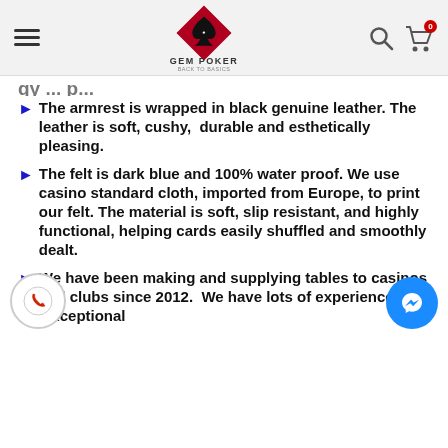Gem Poker — navigation header with logo, hamburger menu, search, and cart icons
The armrest is wrapped in black genuine leather. The leather is soft, cushy, durable and esthetically pleasing.
The felt is dark blue and 100% water proof. We use casino standard cloth, imported from Europe, to print our felt. The material is soft, slip resistant, and highly functional, helping cards easily shuffled and smoothly dealt.
We have been making and supplying tables to casinos and clubs since 2012. We have lots of experience and exceptional